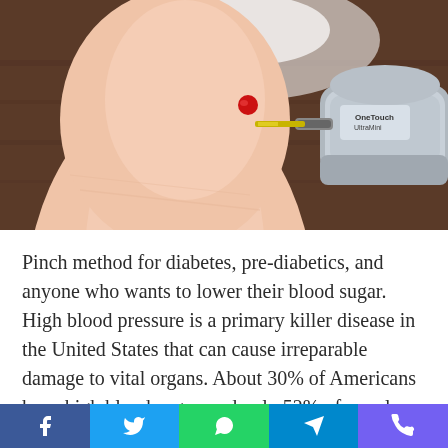[Figure (photo): A finger with a small drop of blood being tested with a OneTouch UltraMini blood glucose meter on a wooden surface background.]
Pinch method for diabetes, pre-diabetics, and anyone who wants to lower their blood sugar. High blood pressure is a primary killer disease in the United States that can cause irreparable damage to vital organs. About 30% of Americans have high blood sugar, and only 52% of people have their condition under control. To preserve the lives of the people,